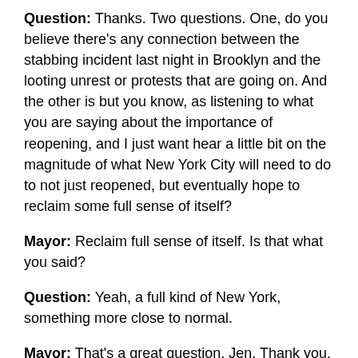Question: Thanks. Two questions. One, do you believe there's any connection between the stabbing incident last night in Brooklyn and the looting unrest or protests that are going on. And the other is but you know, as listening to what you are saying about the importance of reopening, and I just want hear a little bit on the magnitude of what New York City will need to do to not just reopened, but eventually hope to reclaim some full sense of itself?
Mayor: Reclaim full sense of itself. Is that what you said?
Question: Yeah, a full kind of New York, something more close to normal.
Mayor: That's a great question, Jen. Thank you. So framing last night, the question you raised after, you know, a full week in which overwhelmingly we have seen peaceful protest and tremendous restraint by the NYPD, that kind of the hallmark of what we have seen